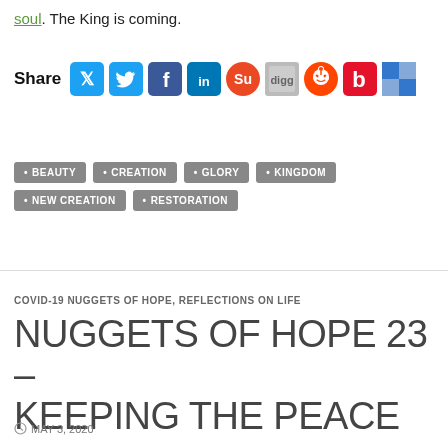soul. The King is coming.
Share [social icons: Twitter, Facebook, LinkedIn, StumbleUpon, Digg, Reddit, Beats, Delicious]
BEAUTY
CREATION
GLORY
KINGDOM
NEW CREATION
RESTORATION
COVID-19 NUGGETS OF HOPE, REFLECTIONS ON LIFE
NUGGETS OF HOPE 23 – KEEPING THE PEACE
MAY 3, 2020